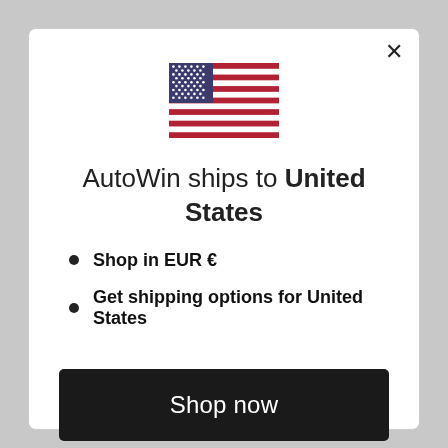[Figure (illustration): USA flag image centered in the modal dialog]
AutoWin ships to United States
Shop in EUR €
Get shipping options for United States
Shop now
Change shipping country